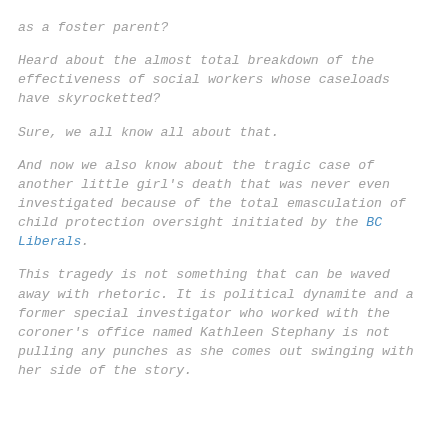as a foster parent?
Heard about the almost total breakdown of the effectiveness of social workers whose caseloads have skyrocketted?
Sure, we all know all about that.
And now we also know about the tragic case of another little girl's death that was never even investigated because of the total emasculation of child protection oversight initiated by the BC Liberals.
This tragedy is not something that can be waved away with rhetoric. It is political dynamite and a former special investigator who worked with the coroner's office named Kathleen Stephany is not pulling any punches as she comes out swinging with her side of the story.